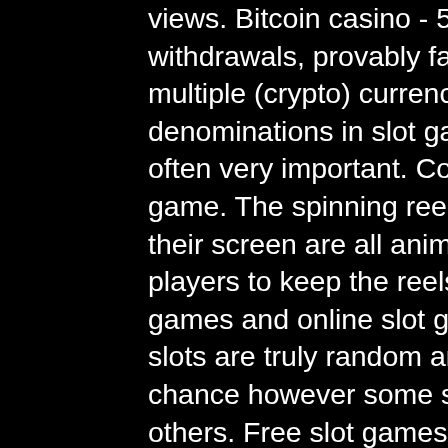views. Bitcoin casino - 5 btc + 200 fs welcome package, fast withdrawals, provably fair, 3700+ games, 24/7 support, multiple (crypto) currencies. Learn about the different coin denominations in slot games and why betting max coins is often very important. Coins are an important part to the game. The spinning reels and near misses' players see on their screen are all animations, there to entertain and entice players to keep the reels spinning. Modern slot machine games and online slot games use rng software meaning slots are truly random and landing a jackpot is down to chance however some slot games do offer better odds than others. Free slot games are essential to winning at slots. Players can use free games to learn the title and understand how to trigger any bonus features. Whilst this game is relatively basic, it's perfect for those who prefer a simpler style of gameplay, without sacrificing graphics and sound